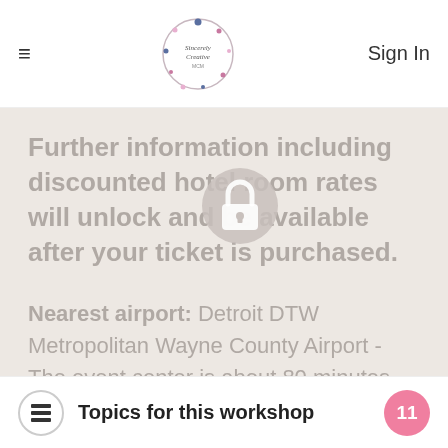≡   Sincerely Creative   Sign In
Further information including discounted hotel room rates will unlock and be available after your ticket is purchased.
Nearest airport: Detroit DTW Metropolitan Wayne County Airport - The event center is about 80 minutes from the airport.
Topics for this workshop  11